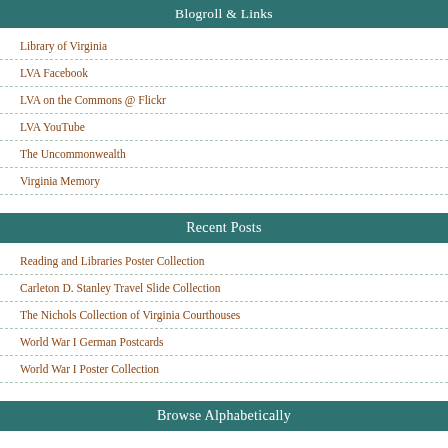Blogroll & Links
Library of Virginia
LVA Facebook
LVA on the Commons @ Flickr
LVA YouTube
The Uncommonwealth
Virginia Memory
Recent Posts
Reading and Libraries Poster Collection
Carleton D. Stanley Travel Slide Collection
The Nichols Collection of Virginia Courthouses
World War I German Postcards
World War I Poster Collection
Browse Alphabetically